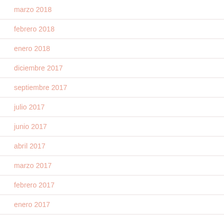marzo 2018
febrero 2018
enero 2018
diciembre 2017
septiembre 2017
julio 2017
junio 2017
abril 2017
marzo 2017
febrero 2017
enero 2017